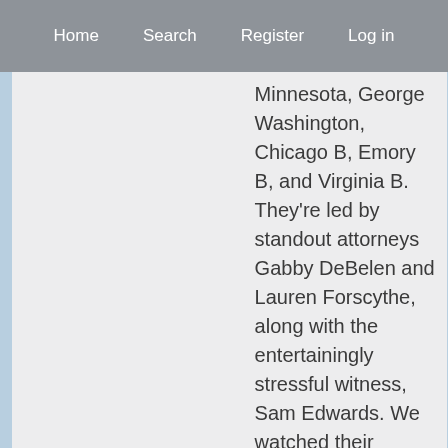Home  Search  Register  Log in
Minnesota, George Washington, Chicago B, Emory B, and Virginia B. They're led by standout attorneys Gabby DeBelen and Lauren Forscythe, along with the entertainingly stressful witness, Sam Edwards. We watched their YouTube spotlight round very carefully, and we think